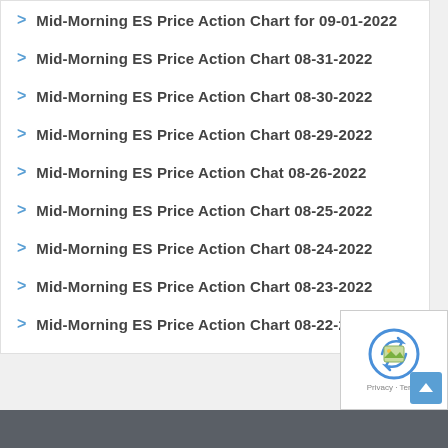Mid-Morning ES Price Action Chart for 09-01-2022
Mid-Morning ES Price Action Chart 08-31-2022
Mid-Morning ES Price Action Chart 08-30-2022
Mid-Morning ES Price Action Chart 08-29-2022
Mid-Morning ES Price Action Chat 08-26-2022
Mid-Morning ES Price Action Chart 08-25-2022
Mid-Morning ES Price Action Chart 08-24-2022
Mid-Morning ES Price Action Chart 08-23-2022
Mid-Morning ES Price Action Chart 08-22-2022
[Figure (other): reCAPTCHA widget overlay on the page]